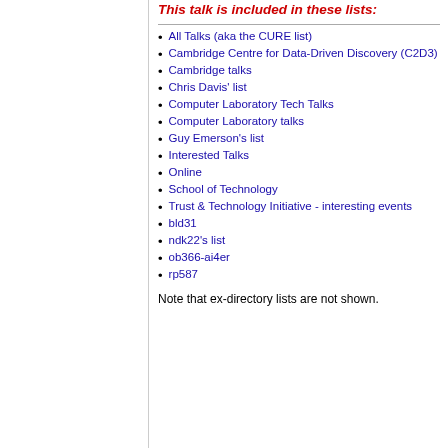This talk is included in these lists:
All Talks (aka the CURE list)
Cambridge Centre for Data-Driven Discovery (C2D3)
Cambridge talks
Chris Davis' list
Computer Laboratory Tech Talks
Computer Laboratory talks
Guy Emerson's list
Interested Talks
Online
School of Technology
Trust & Technology Initiative - interesting events
bld31
ndk22's list
ob366-ai4er
rp587
Note that ex-directory lists are not shown.